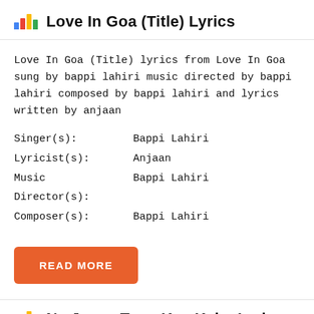Love In Goa (Title) Lyrics
Love In Goa (Title) lyrics from Love In Goa sung by bappi lahiri music directed by bappi lahiri composed by bappi lahiri and lyrics written by anjaan
| Singer(s): | Bappi Lahiri |
| Lyricist(s): | Anjaan |
| Music Director(s): | Bappi Lahiri |
| Composer(s): | Bappi Lahiri |
READ MORE
Na Jaane Tune Kya Kaha Lyrics